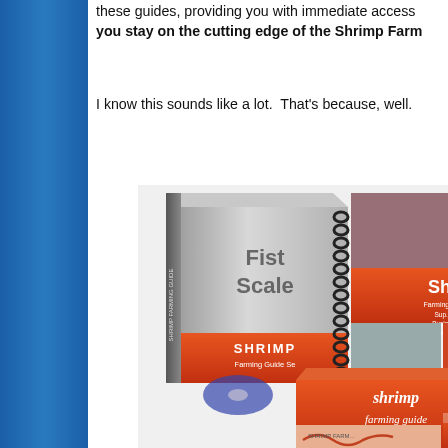these guides, providing you with immediate access to help you stay on the cutting edge of the Shrimp Farm...
I know this sounds like a lot.  That's because, well...
[Figure (photo): Product image showing stacked shrimp farming guide books including 'Fish Scale', 'Shrimp Farming Guide Series', and 'shrimp farming guide' books with orange and white covers and photos of shrimp]